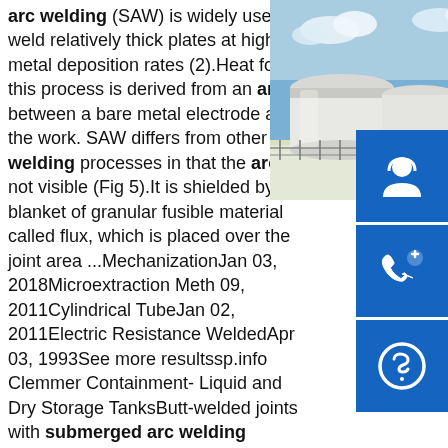arc welding (SAW) is widely used to weld relatively thick plates at high metal deposition rates (2).Heat for this process is derived from an arc between a bare metal electrode and the work. SAW differs from other arc welding processes in that the arc is not visible (Fig 5).It is shielded by a blanket of granular fusible material called flux, which is placed over the joint area ...MechanizationJan 03, 2018Microextraction Meth 09, 2011Cylindrical TubeJan 02, 2011Electric Resistance WeldedApr 03, 1993See more resultssp.info Clemmer Containment- Liquid and Dry Storage TanksButt-welded joints with submerged arc welding ensures quality and attractiveness. Alternative fuels compatibility without the cost on internal liners. 340° or 360° secondary containment for ultimate leak protection. Delivered under full coverage paint, site fabricated in many shapes and...
[Figure (photo): Aerial photo of large white cylindrical storage tanks behind a chain-link fence, under a blue sky.]
[Figure (infographic): Three blue square buttons on the right sidebar: customer support/headset icon, phone icon, and Skype icon.]